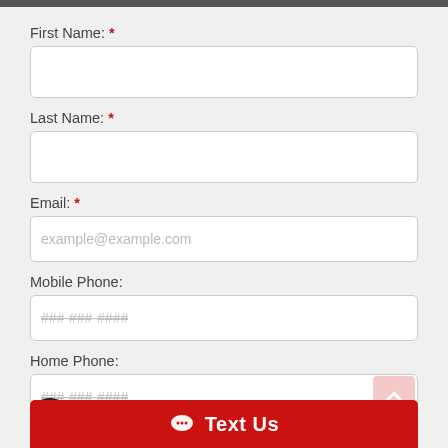First Name: *
Last Name: *
Email: *
example@example.com (placeholder)
Mobile Phone:
###-###-#### (placeholder)
Home Phone:
###-###-#### (placeholder)
Comments:
Text Us